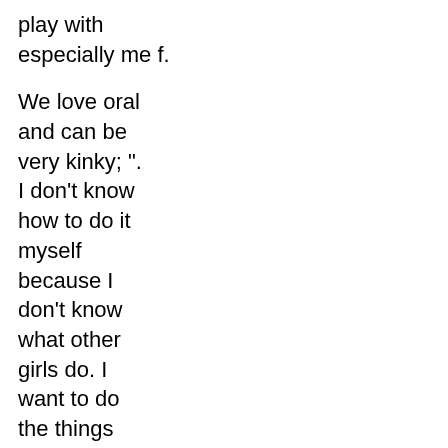play with especially me f.
We love oral and can be very kinky; ". I don't know how to do it myself because I don't know what other girls do. I want to do the things that they won't so men like me and desire me.